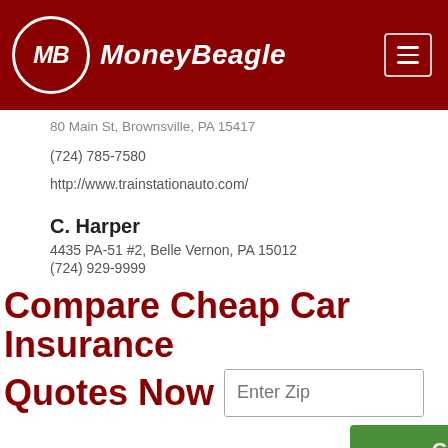[Figure (logo): MoneyBeagle logo with MB initials in a white circle on a dark red background, with site name 'MoneyBeagle' in white italic text, and a hamburger menu icon on the right]
80 Main St, Brownsville, PA 15417
(724) 785-7580
http://www.trainstationauto.com/
C. Harper
4435 PA-51 #2, Belle Vernon, PA 15012
(724) 929-9999
Compare Cheap Car Insurance Quotes Now
Enter Zip
Get Rates >